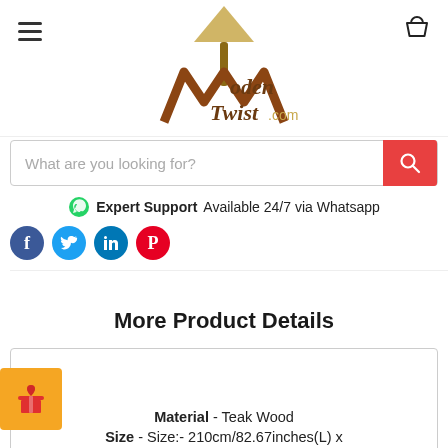[Figure (logo): WoodenTwist.com logo with lamp and stylized W icon in gold/brown colors]
What are you looking for?
Expert Support Available 24/7 via Whatsapp
[Figure (infographic): Social media icons row: Facebook, Twitter, LinkedIn, Pinterest]
More Product Details
Material - Teak Wood
Size - Size:- 210cm/82.67inches(L) x